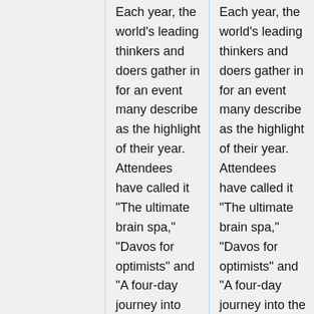Each year, the world's leading thinkers and doers gather in for an event many describe as the highlight of their year. Attendees have called it "The ultimate brain spa," "Davos for optimists" and "A four-day journey into the future, in the company of those creating it." This event is called TED, and it's truly a conference like no other.<br> <BR>
Each year, the world's leading thinkers and doers gather in for an event many describe as the highlight of their year. Attendees have called it "The ultimate brain spa," "Davos for optimists" and "A four-day journey into the future, in the company of those creating it." This event is called TED, and it's truly a conference like no other.<br> <BR>